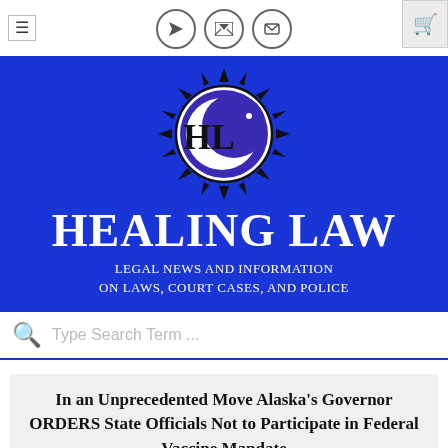[Figure (logo): Healing Law logo: circular emblem with sun rays, crescent moon, HL letters, on blue background]
HEALING LAW
LEGAL NEWS AND INFORMATION ON LAWS, COURT CASES, AND POLICE
Type Search Term ...
In an Unprecedented Move Alaska's Governor ORDERS State Officials Not to Participate in Federal Vaccine Mandate